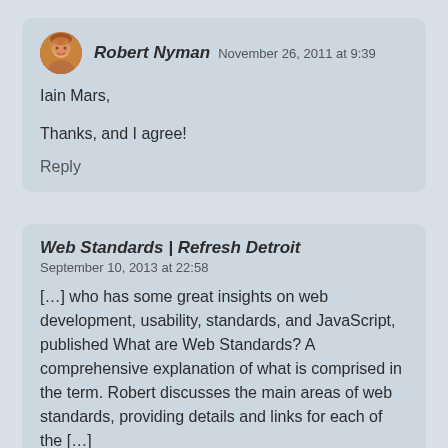Robert Nyman  November 26, 2011 at 9:39
Iain Mars,
Thanks, and I agree!
Reply
Web Standards | Refresh Detroit
September 10, 2013 at 22:58
[…] who has some great insights on web development, usability, standards, and JavaScript, published What are Web Standards? A comprehensive explanation of what is comprised in the term. Robert discusses the main areas of web standards, providing details and links for each of the […]